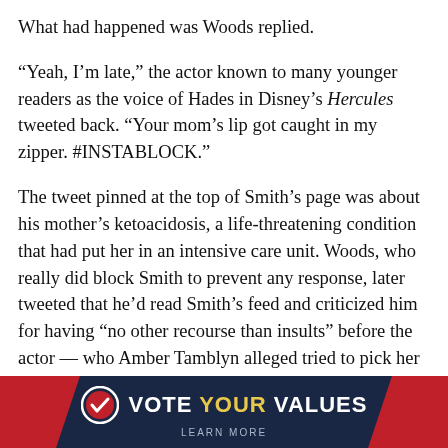What had happened was Woods replied.
“Yeah, I’m late,” the actor known to many younger readers as the voice of Hades in Disney’s Hercules tweeted back. “Your mom’s lip got caught in my zipper. #INSTABLOCK.”
The tweet pinned at the top of Smith’s page was about his mother’s ketoacidosis, a life-threatening condition that had put her in an intensive care unit. Woods, who really did block Smith to prevent any response, later tweeted that he’d read Smith’s feed and criticized him for having “no other recourse than insults” before the actor — who Amber Tamblyn alleged tried to pick her up when she was 16 and he was 53 — retweeted an image of Bernie Sanders next to Joseph Stalin and took a bigoted jab at
[Figure (other): Vote Your Values banner with dark navy background, red diagonal accents on left and right, a checkmark circle logo, and text reading VOTE YOUR VALUES with LEARN MORE below]